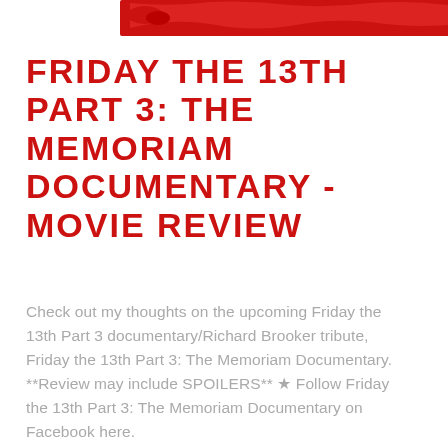[Figure (illustration): Red paint stroke / banner across the top of the page]
FRIDAY THE 13TH PART 3: THE MEMORIAM DOCUMENTARY - MOVIE REVIEW
Check out my thoughts on the upcoming Friday the 13th Part 3 documentary/Richard Brooker tribute, Friday the 13th Part 3: The Memoriam Documentary. **Review may include SPOILERS** ★ Follow Friday the 13th Part 3: The Memoriam Documentary on Facebook here.